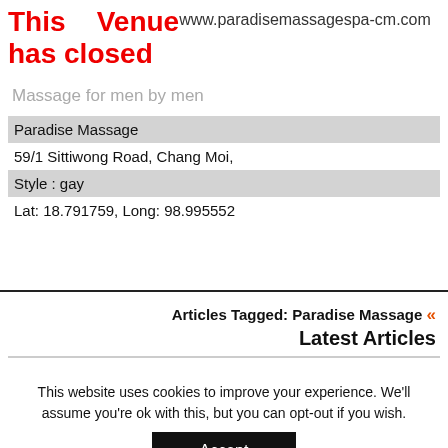This Venue has closed
www.paradisemassagespa-cm.com
Massage for men by men
| Paradise Massage |
| 59/1 Sittiwong Road, Chang Moi, |
| Style : gay |
| Lat: 18.791759, Long: 98.995552 |
Articles Tagged: Paradise Massage « Latest Articles
This website uses cookies to improve your experience. We'll assume you're ok with this, but you can opt-out if you wish.
Accept